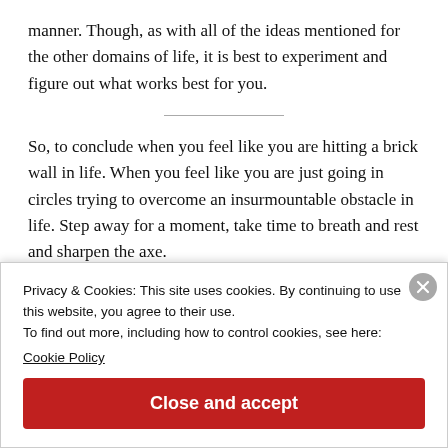manner. Though, as with all of the ideas mentioned for the other domains of life, it is best to experiment and figure out what works best for you.
So, to conclude when you feel like you are hitting a brick wall in life. When you feel like you are just going in circles trying to overcome an insurmountable obstacle in life. Step away for a moment, take time to breath and rest and sharpen the axe.
Privacy & Cookies: This site uses cookies. By continuing to use this website, you agree to their use.
To find out more, including how to control cookies, see here:
Cookie Policy
Close and accept